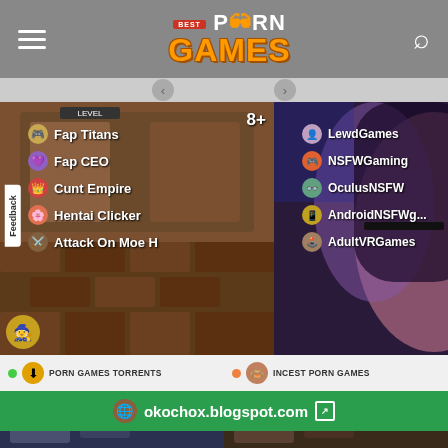BEST PORN GAMES - site header with logo, hamburger menu, and search icon
[Figure (screenshot): Left game card showing anime-style game with rating 8+ and list of games: Fap Titans, Fap CEO, Cunt Empire, Hentai Clicker, Attack On Moe H. Feedback tab on left side.]
[Figure (screenshot): Right game card showing adult anime art with rating 12+ and list: LewdGames, NSFWGaming, OculusNSFW, AndroidNSFWg..., AdultVRGames]
PORN GAMES TORRENTS
INCEST PORN GAMES
[Figure (screenshot): Bottom left card with rating 10+]
[Figure (screenshot): Bottom right card with rating 21+]
okochox.blogspot.com
631+ Best Porn Games
7+ Porn Puzzle Games